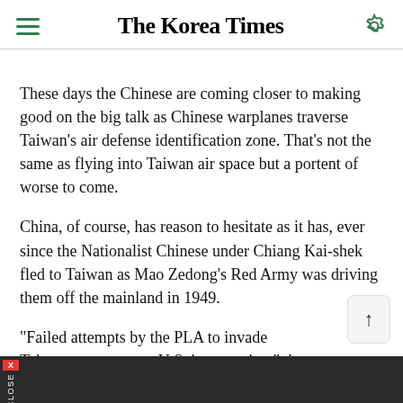The Korea Times
These days the Chinese are coming closer to making good on the big talk as Chinese warplanes traverse Taiwan's air defense identification zone. That's not the same as flying into Taiwan air space but a portent of worse to come.
China, of course, has reason to hesitate as it has, ever since the Nationalist Chinese under Chiang Kai-shek fled to Taiwan as Mao Zedong's Red Army was driving them off the mainland in 1949.
"Failed attempts by the PLA to invade Taiwan or to counter U.S. intervention," the U.S.-China